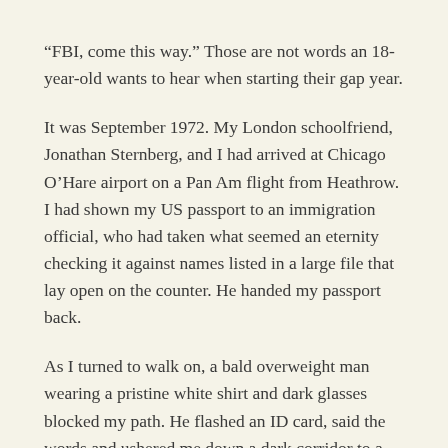“FBI, come this way.” Those are not words an 18-year-old wants to hear when starting their gap year.
It was September 1972. My London schoolfriend, Jonathan Sternberg, and I had arrived at Chicago O’Hare airport on a Pan Am flight from Heathrow. I had shown my US passport to an immigration official, who had taken what seemed an eternity checking it against names listed in a large file that lay open on the counter. He handed my passport back.
As I turned to walk on, a bald overweight man wearing a pristine white shirt and dark glasses blocked my path. He flashed an ID card, said the words and ushered me down a dark corridor to a room barely big enough for the two of us and a small Formica table. He told me to sit.